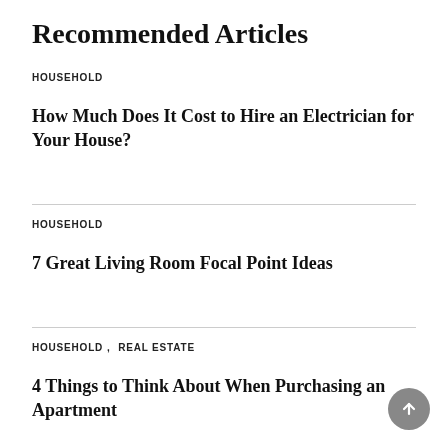Recommended Articles
HOUSEHOLD
How Much Does It Cost to Hire an Electrician for Your House?
HOUSEHOLD
7 Great Living Room Focal Point Ideas
HOUSEHOLD,  REAL ESTATE
4 Things to Think About When Purchasing an Apartment